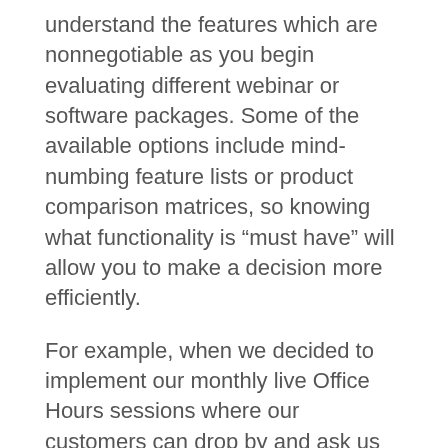understand the features which are nonnegotiable as you begin evaluating different webinar or software packages. Some of the available options include mind-numbing feature lists or product comparison matrices, so knowing what functionality is “must have” will allow you to make a decision more efficiently.
For example, when we decided to implement our monthly live Office Hours sessions where our customers can drop by and ask us questions, we had an idea of how we wanted that to work. We needed the ability for all of our presenters to appear on the screen simultaneously, we needed screen sharing capabilities for technical demonstrations, we wanted participants to be able to chat with presenters, and we wanted students to be